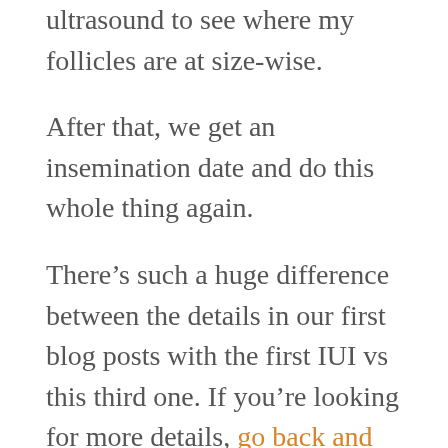ultrasound to see where my follicles are at size-wise.
After that, we get an insemination date and do this whole thing again.
There’s such a huge difference between the details in our first blog posts with the first IUI vs this third one. If you’re looking for more details, go back and revisit our first try! It’ll give you a way more in-depth blog about the whole experience. At this point, I think we are both exhausted and trying to be as patient as possible. Also, I have a bunch of physics homework that’s keeping me busy.
Last week we went to our local “witchy” store called Avalon,  which has pretty much anything